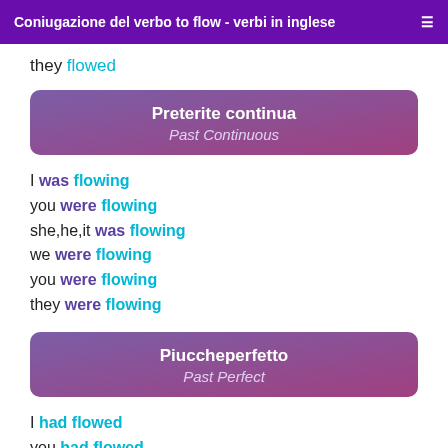Coniugazione del verbo to flow - verbi in inglese
they flowed
Preterite continua
Past Continuous
I was flowing
you were flowing
she,he,it was flowing
we were flowing
you were flowing
they were flowing
Piuccheperfetto
Past Perfect
I had flowed
you had flowed
she,he,it had flowed
we had flowed